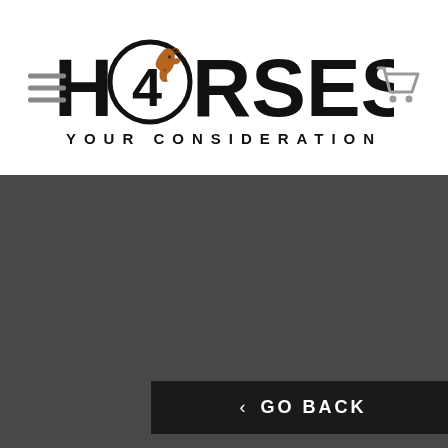[Figure (logo): H4RSES YOUR CONSIDERATION logo with horse head inside the letter O, hamburger menu icon on left, shopping cart icon on right]
[Figure (other): Dark grey background section filling lower portion of page]
< GO BACK